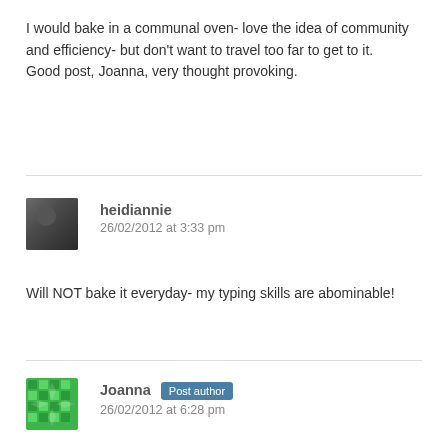I would bake in a communal oven- love the idea of community and efficiency- but don't want to travel too far to get to it.
Good post, Joanna, very thought provoking.
heidiannie
26/02/2012 at 3:33 pm
Will NOT bake it everyday- my typing skills are abominable!
Joanna  Post author
26/02/2012 at 6:28 pm